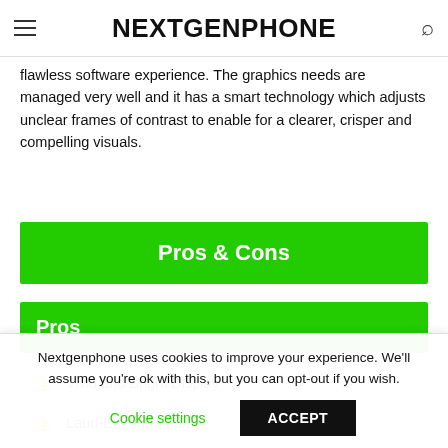NEXTGENPHONE
flawless software experience. The graphics needs are managed very well and it has a smart technology which adjusts unclear frames of contrast to enable for a clearer, crisper and compelling visuals.
Pros & Cons
Pros
Vivid and Bright Display
Laud-Enough Audio
Nextgenphone uses cookies to improve your experience. We'll assume you're ok with this, but you can opt-out if you wish.
Cookie settings   ACCEPT